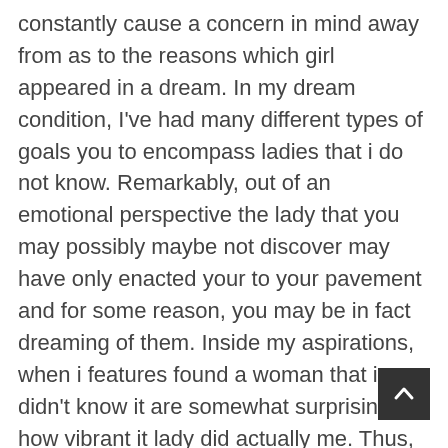constantly cause a concern in mind away from as to the reasons which girl appeared in a dream. In my dream condition, I've had many different types of goals you to encompass ladies that i do not know. Remarkably, out of an emotional perspective the lady that you may possibly maybe not discover may have only enacted your to your pavement and for some reason, you may be in fact dreaming of them. Inside my aspirations, when i features found a woman that i didn't know it are somewhat surprising how vibrant it lady did actually me. Thus, so you're able to dream about a female in your life or don't learn basically comes with the exact same definition. It is all linked to your ladies likes and dislikes inside the waking existence.